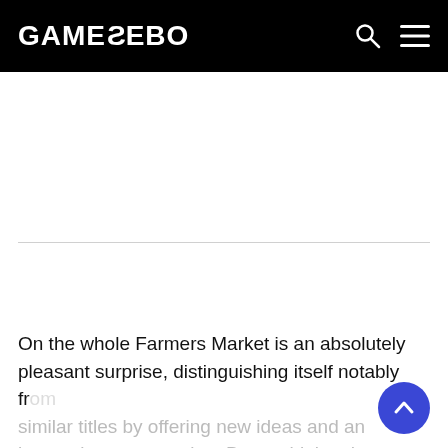GAMEZEBO
On the whole Farmers Market is an absolutely pleasant surprise, distinguishing itself notably from similar titles by offering new ideas and an interesting presentation. By combining the most